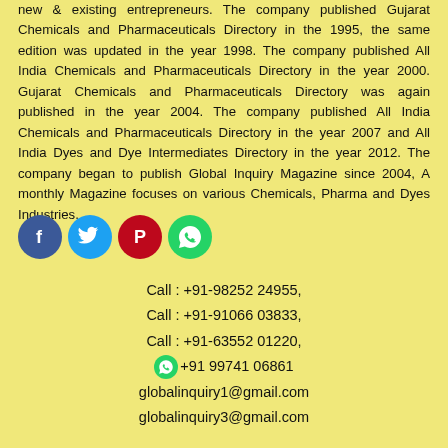new & existing entrepreneurs. The company published Gujarat Chemicals and Pharmaceuticals Directory in the 1995, the same edition was updated in the year 1998. The company published All India Chemicals and Pharmaceuticals Directory in the year 2000. Gujarat Chemicals and Pharmaceuticals Directory was again published in the year 2004. The company published All India Chemicals and Pharmaceuticals Directory in the year 2007 and All India Dyes and Dye Intermediates Directory in the year 2012. The company began to publish Global Inquiry Magazine since 2004, A monthly Magazine focuses on various Chemicals, Pharma and Dyes Industries.
[Figure (infographic): Row of four social media icons: Facebook (blue), Twitter (light blue), Pinterest (red), WhatsApp (green)]
Call : +91-98252 24955,
Call : +91-91066 03833,
Call : +91-63552 01220,
+91 99741 06861
globalinquiry1@gmail.com
globalinquiry3@gmail.com